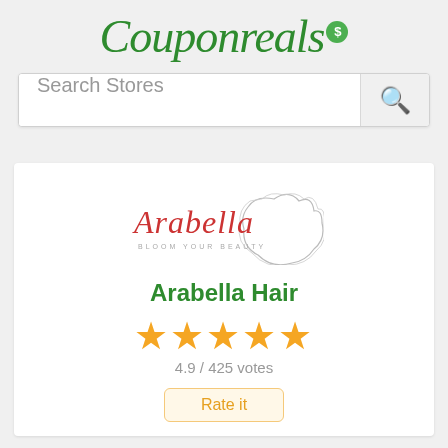Couponreals
Search Stores
[Figure (logo): Arabella Hair brand logo with cursive red text 'Arabella' and silhouette illustration, subtitle 'BLOOM YOUR BEAUTY']
Arabella Hair
4.9 / 425 votes
Rate it